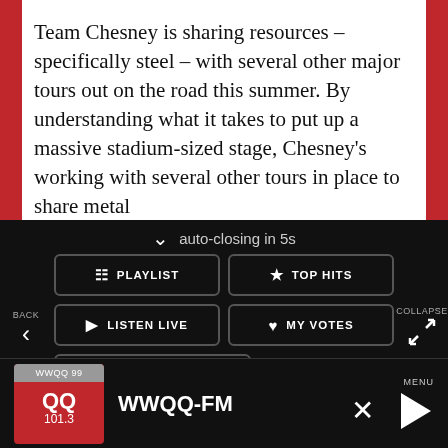Team Chesney is sharing resources – specifically steel – with several other major tours out on the road this summer. By understanding what it takes to put up a massive stadium-sized stage, Chesney's working with several other tours in place to share metal
[Figure (screenshot): Mobile app overlay menu on black background with auto-closing notification, navigation buttons: PLAYLIST, TOP HITS, LISTEN LIVE, MY VOTES, CONTROLS, data opt-out toggle, WWQQ-FM station name and bottom player bar with logo, station name, MENU label, close and play buttons]
auto-closing in 5s
BACK
COLLAPSE
PLAYLIST
TOP HITS
LISTEN LIVE
MY VOTES
CONTROLS
Data opt-out
WWQQ-FM
WWQQ-FM
MENU